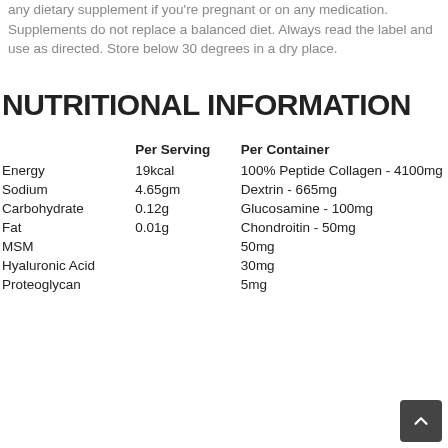any dietary supplement if you're pregnant or on any medication. Supplements do not replace a balanced diet. Always read the label and use as directed. Store below 30 degrees in a dry place.
NUTRITIONAL INFORMATION
|  | Per Serving | Per Container |
| --- | --- | --- |
| Energy | 19kcal | 100% Peptide Collagen - 4100mg |
| Sodium | 4.65gm | Dextrin - 665mg |
| Carbohydrate | 0.12g | Glucosamine - 100mg |
| Fat | 0.01g | Chondroitin - 50mg |
| MSM |  | 50mg |
| Hyaluronic Acid |  | 30mg |
| Proteoglycan |  | 5mg |